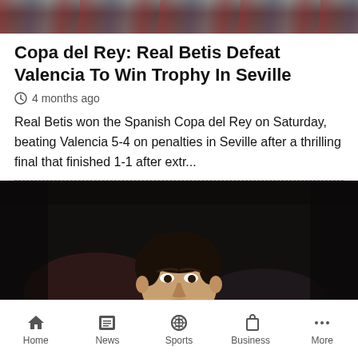[Figure (photo): Top banner photo showing a crowd of football players/fans celebrating]
Copa del Rey: Real Betis Defeat Valencia To Win Trophy In Seville
4 months ago
Real Betis won the Spanish Copa del Rey on Saturday, beating Valencia 5-4 on penalties in Seville after a thrilling final that finished 1-1 after extr...
[Figure (photo): A football player wearing a white jersey looking into the camera against a dark blurred background]
Home  News  Sports  Business  More